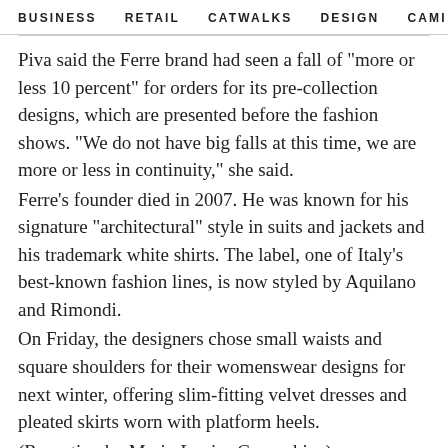BUSINESS   RETAIL   CATWALKS   DESIGN   CAMI >
Piva said the Ferre brand had seen a fall of "more or less 10 percent" for orders for its pre-collection designs, which are presented before the fashion shows. "We do not have big falls at this time, we are more or less in continuity," she said.
Ferre's founder died in 2007. He was known for his signature "architectural" style in suits and jackets and his trademark white shirts. The label, one of Italy's best-known fashion lines, is now styled by Aquilano and Rimondi.
On Friday, the designers chose small waists and square shoulders for their womenswear designs for next winter, offering slim-fitting velvet dresses and pleated skirts worn with platform heels.
(Reporting by Marie-Louise Gumuchian)